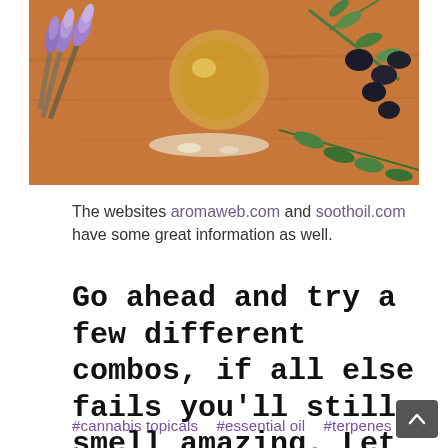[Figure (photo): A flat-lay photo on a wooden surface showing lavender sprigs, a glass bottle of oil, black olives on a branch, and green herb leaves.]
The websites aromaweb.com and soothoil.com have some great information as well.
Go ahead and try a few different combos, if all else fails you'll still smell amazing. Let us know what works and what doesn't in the comments!
#cannabis topicals  #essential oil  #terpenes